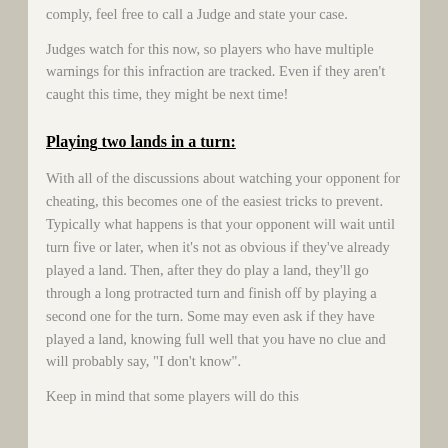comply, feel free to call a Judge and state your case.
Judges watch for this now, so players who have multiple warnings for this infraction are tracked. Even if they aren't caught this time, they might be next time!
Playing two lands in a turn:
With all of the discussions about watching your opponent for cheating, this becomes one of the easiest tricks to prevent. Typically what happens is that your opponent will wait until turn five or later, when it's not as obvious if they've already played a land. Then, after they do play a land, they'll go through a long protracted turn and finish off by playing a second one for the turn. Some may even ask if they have played a land, knowing full well that you have no clue and will probably say, "I don't know".
Keep in mind that some players will do this